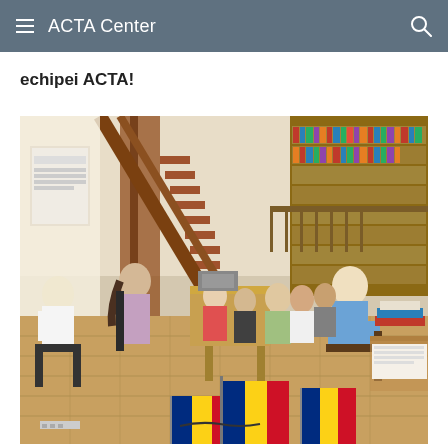ACTA Center
echipei ACTA!
[Figure (photo): Indoor meeting or event in a library/bookshop setting. People are seated in chairs arranged in a semi-circle. Bookshelves line the walls and a wooden staircase is visible in the background. Romanian flags (blue, yellow, red) are displayed in the foreground on a table.]